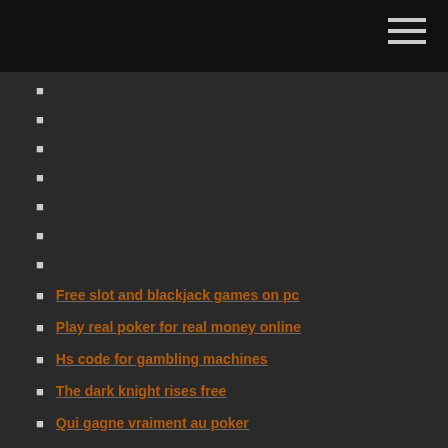Free slot and blackjack games on pc
Play real poker for real money online
Hs code for gambling machines
The dark knight rises free
Qui gagne vraiment au poker
Casino jack online subtitrat hd
Sfr casino la croix rouge marseille